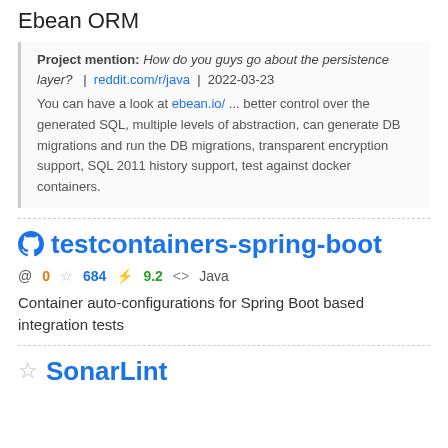Ebean ORM
Project mention: How do you guys go about the persistence layer? | reddit.com/r/java | 2022-03-23
You can have a look at ebean.io/ ... better control over the generated SQL, multiple levels of abstraction, can generate DB migrations and run the DB migrations, transparent encryption support, SQL 2011 history support, test against docker containers.
testcontainers-spring-boot
@ 0  ☆ 684  ⚡ 9.2  <> Java
Container auto-configurations for Spring Boot based integration tests
SonarLint